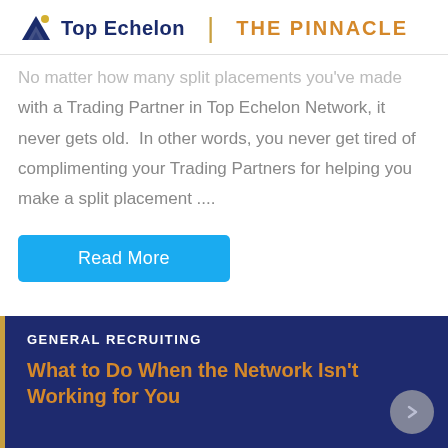Top Echelon | THE PINNACLE
No matter how many split placements you've made with a Trading Partner in Top Echelon Network, it never gets old.  In other words, you never get tired of complimenting your Trading Partners for helping you make a split placement ....
Read More
GENERAL RECRUITING
What to Do When the Network Isn't Working for You